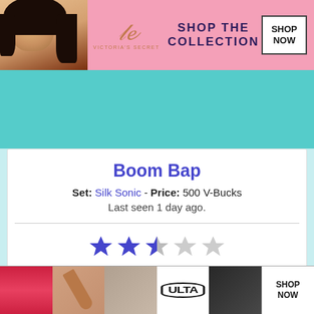[Figure (screenshot): Victoria's Secret banner advertisement with model, VS logo, 'SHOP THE COLLECTION' text and 'SHOP NOW' button]
[Figure (screenshot): Light teal/turquoise background bar]
Boom Bap
Set: Silk Sonic - Price: 500 V-Bucks
Last seen 1 day ago.
[Figure (infographic): Star rating display showing 2.6 out of 5 stars (2 full blue stars, 1 partial blue star, 2 empty grey stars). RATING: 2.6/5. FROM 35 VOTES.]
[Figure (screenshot): Teal/turquoise background with white silhouette of a character]
[Figure (screenshot): ULTA Beauty advertisement banner with makeup imagery and SHOP NOW button]